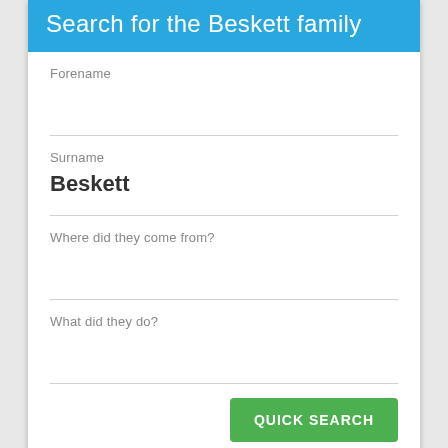Search for the Beskett family
Forename
Surname
Beskett
Where did they come from?
What did they do?
QUICK SEARCH